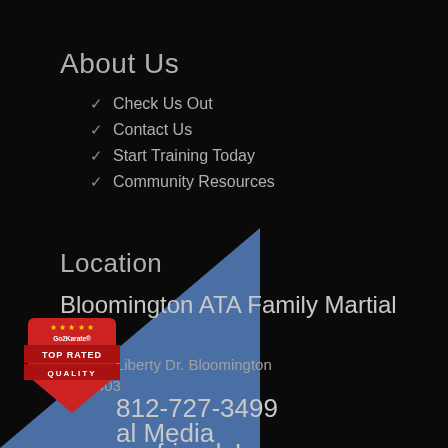About Us
Check Us Out
Contact Us
Start Training Today
Community Resources
Location
Bloomington ATA Family Martial Arts
1921 S. Liberty Dr. Bloomington IN 47403
812-727-3499
al Media
ew friends!
[Figure (logo): Go2Karate Top Rated Quality badge/shield in red]